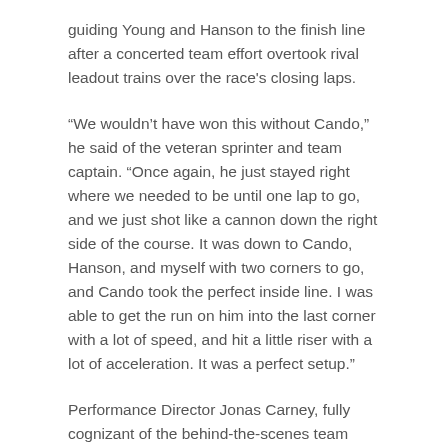guiding Young and Hanson to the finish line after a concerted team effort overtook rival leadout trains over the race's closing laps.
“We wouldn’t have won this without Cando,” he said of the veteran sprinter and team captain. “Once again, he just stayed right where we needed to be until one lap to go, and we just shot like a cannon down the right side of the course. It was down to Cando, Hanson, and myself with two corners to go, and Cando took the perfect inside line. I was able to get the run on him into the last corner with a lot of speed, and hit a little riser with a lot of acceleration. It was a perfect setup.”
Performance Director Jonas Carney, fully cognizant of the behind-the-scenes team effort that dictates winning and losing at such high-stakes events, brought the team’s best 8-man roster to the race.